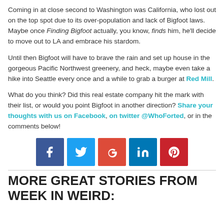Coming in at close second to Washington was California, who lost out on the top spot due to its over-population and lack of Bigfoot laws. Maybe once Finding Bigfoot actually, you know, finds him, he’ll decide to move out to LA and embrace his stardom.
Until then Bigfoot will have to brave the rain and set up house in the gorgeous Pacific Northwest greenery, and heck, maybe even take a hike into Seattle every once and a while to grab a burger at Red Mill.
What do you think? Did this real estate company hit the mark with their list, or would you point Bigfoot in another direction? Share your thoughts with us on Facebook, on twitter @WhoForted, or in the comments below!
[Figure (infographic): Row of 5 social media share buttons: Facebook (blue), Twitter (light blue), Google+ (red), LinkedIn (dark blue), Pinterest (red)]
MORE GREAT STORIES FROM WEEK IN WEIRD: